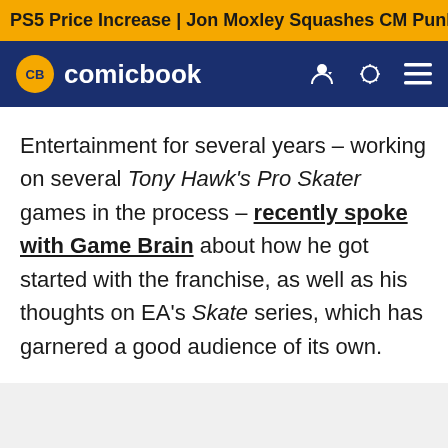PS5 Price Increase | Jon Moxley Squashes CM Punk | New Ge
CB comicbook
Entertainment for several years – working on several Tony Hawk's Pro Skater games in the process – recently spoke with Game Brain about how he got started with the franchise, as well as his thoughts on EA's Skate series, which has garnered a good audience of its own.